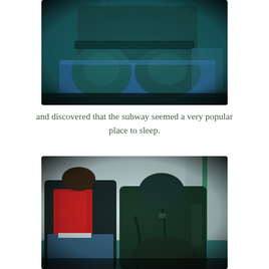[Figure (photo): Polaroid-style photo of a person sleeping on a subway seat, shown from the waist down wearing teal/dark jeans, seated on a blue subway bench. Heavy vignette border with dark edges.]
and discovered that the subway seemed a very popular place to sleep.
[Figure (photo): Polaroid-style photo of two people sleeping on a subway car. The person on the left wears a bright red scarf and dark jacket; the person on the right wears a dark green coat, head drooped forward. Teal/cyan toned subway interior with heavy vignette border.]